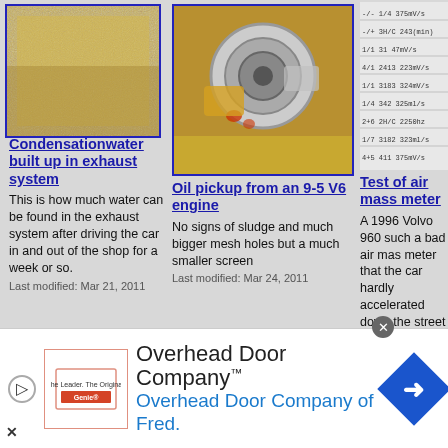[Figure (photo): Sand/grit condensation water buildup photo]
Condensationwater built up in exhaust system
This is how much water can be found in the exhaust system after driving the car in and out of the shop for a week or so.
Last modified: Mar 21, 2011
[Figure (photo): Oil pickup from a 9-5 V6 engine]
Oil pickup from an 9-5 V6 engine
No signs of sludge and much bigger mesh holes but a much smaller screen
Last modified: Mar 24, 2011
[Figure (table-as-image): Table of data, partially visible]
Test of air mass meter
A 1996 Volvo 960 such a bad air mas meter that the car hardly accelerated down the street
Last modified: Mar 29
[Figure (photo): Heater core copper radiator component]
[Figure (photo): Copper pipe elbow fitting on mesh background]
[Figure (photo): Rubber ring/seal component]
[Figure (photo): Overhead Door Company advertisement with logo and diamond arrow sign]